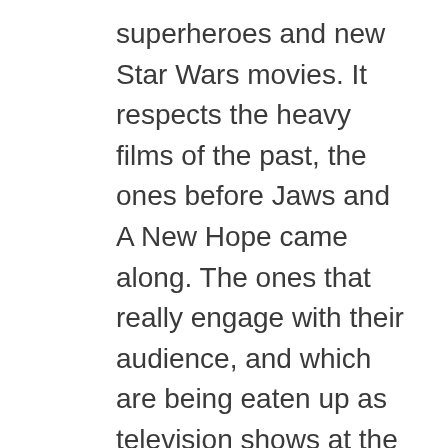superheroes and new Star Wars movies. It respects the heavy films of the past, the ones before Jaws and A New Hope came along. The ones that really engage with their audience, and which are being eaten up as television shows at the moment. But films are self-contained stories, and television requires a larger commitment.
I hope that David Mackenzie influences a new generation of filmmakers to follow in his footsteps and leave the capes and tights in the closet. It'll enrich our lives. But that's just a theory.
Tim!